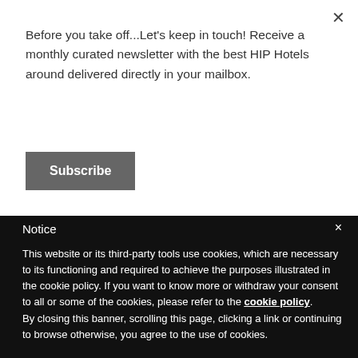Before you take off...Let's keep in touch! Receive a monthly curated newsletter with the best HIP Hotels around delivered directly in your mailbox.
Subscribe
When: 31st December 2019
Dress Code: Dress to impress
Notice
This website or its third-party tools use cookies, which are necessary to its functioning and required to achieve the purposes illustrated in the cookie policy. If you want to know more or withdraw your consent to all or some of the cookies, please refer to the cookie policy.
By closing this banner, scrolling this page, clicking a link or continuing to browse otherwise, you agree to the use of cookies.